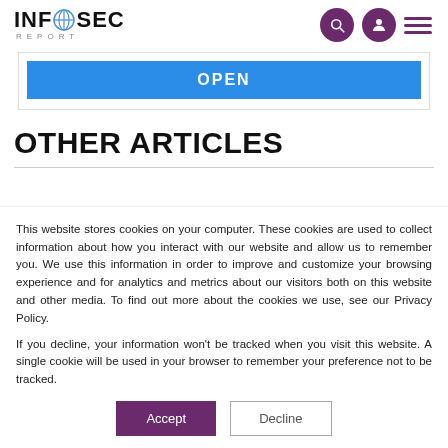INFOSEC REPORT
[Figure (other): Blue OPEN button inside a bordered card area]
OTHER ARTICLES
This website stores cookies on your computer. These cookies are used to collect information about how you interact with our website and allow us to remember you. We use this information in order to improve and customize your browsing experience and for analytics and metrics about our visitors both on this website and other media. To find out more about the cookies we use, see our Privacy Policy.
If you decline, your information won't be tracked when you visit this website. A single cookie will be used in your browser to remember your preference not to be tracked.